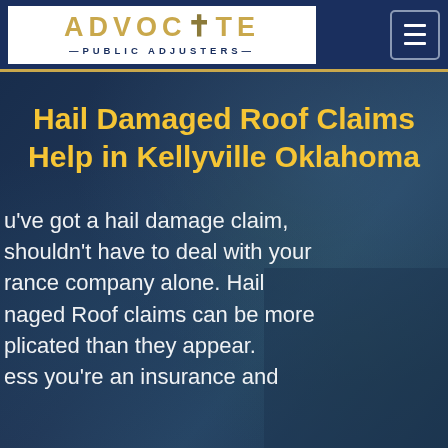[Figure (logo): Advocate Public Adjusters logo — gold text on white background with navy sub-text]
Hail Damaged Roof Claims Help in Kellyville Oklahoma
u've got a hail damage claim, shouldn't have to deal with your rance company alone. Hail naged Roof claims can be more plicated than they appear. ess you're an insurance and